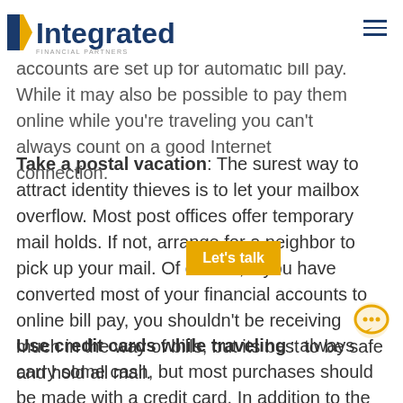Integrated Financial Partners
Automate your bill pay: Make sure all of your utilities, credit card and loan accounts are set up for automatic bill pay. While it may also be possible to pay them online while you’re traveling you can’t always count on a good Internet connection.
Take a postal vacation: The surest way to attract identity thieves is to let your mailbox overflow. Most post offices offer temporary mail holds. If not, arrange for a neighbor to pick up your mail. Of course, if you have converted most of your financial accounts to online bill pay, you shouldn’t be receiving much in the way of bills, but its best to be safe and hold all mail.
Use credit cards while traveling: always carry some cash, but most purchases should be made with a credit card. In addition to the protection it provides against with